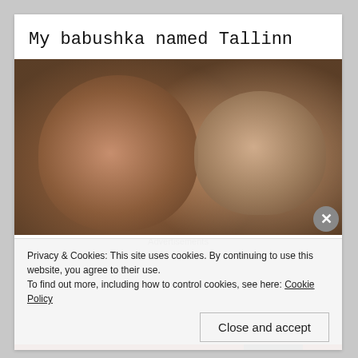My babushka named Tallinn
[Figure (photo): Selfie photo of two people cheek-to-cheek, a woman with dark hair on the left smiling, and a person with glasses on the right, both looking at the camera, taken indoors with warm lighting.]
Advertisements
Privacy & Cookies: This site uses cookies. By continuing to use this website, you agree to their use.
To find out more, including how to control cookies, see here: Cookie Policy
Close and accept